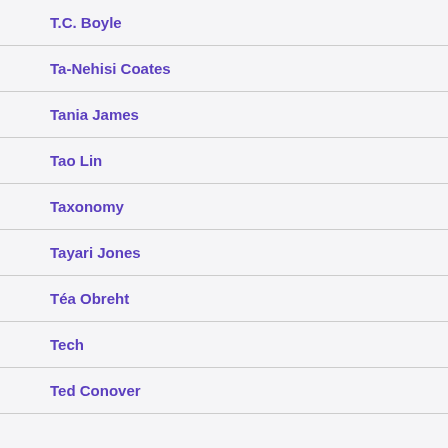T.C. Boyle
Ta-Nehisi Coates
Tania James
Tao Lin
Taxonomy
Tayari Jones
Téa Obreht
Tech
Ted Conover